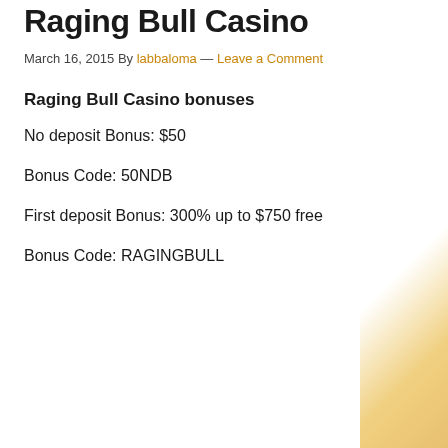Raging Bull Casino
March 16, 2015 By labbaloma — Leave a Comment
Raging Bull Casino bonuses
No deposit Bonus: $50
Bonus Code: 50NDB
First deposit Bonus: 300% up to $750 free
Bonus Code: RAGINGBULL